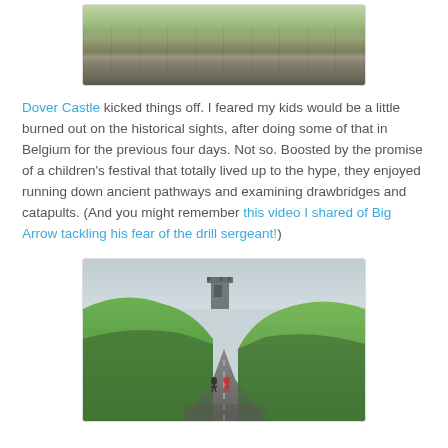[Figure (photo): Top portion of a photo showing stone castle walls with grass, battlements visible, people on top of the wall.]
Dover Castle kicked things off. I feared my kids would be a little burned out on the historical sights, after doing some of that in Belgium for the previous four days. Not so. Boosted by the promise of a children's festival that totally lived up to the hype, they enjoyed running down ancient pathways and examining drawbridges and catapults. (And you might remember this video I shared of Big Arrow tackling his fear of the drill sergeant!)
[Figure (photo): Photo of Dover Castle grounds showing a path leading up between grassy mounds/ramparts, with a tower visible in the background and two small figures (children) running on the path.]